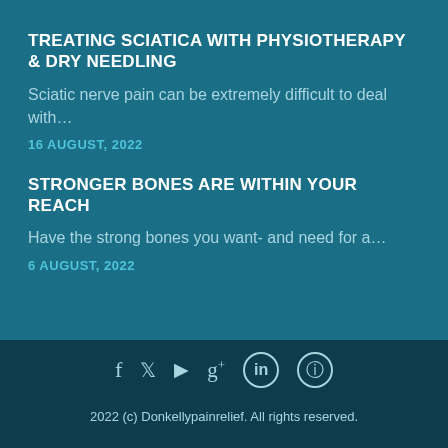TREATING SCIATICA WITH PHYSIOTHERAPY & DRY NEEDLING
Sciatic nerve pain can be extremely difficult to deal with…
16 AUGUST, 2022
STRONGER BONES ARE WITHIN YOUR REACH
Have the strong bones you want- and need for a…
6 AUGUST, 2022
2022 (c) Donkellypainrelief. All rights reserved.